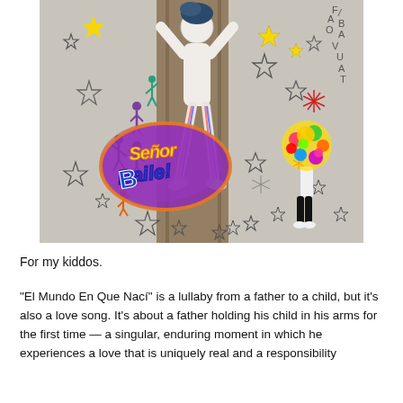[Figure (illustration): Colorful collage artwork showing a figure with arms raised against a wooden post background, surrounded by hand-drawn stars, colorful silhouetted figures dancing, graffiti-style text reading 'Señor Baile!', a figure with a bouquet of colorful flowers for a head, and hand-drawn decorative elements including stars and asterisks. Letters F, A, O, B, V, U, A, T are written vertically on the upper right.]
For my kiddos.
“El Mundo En Que Nací” is a lullaby from a father to a child, but it’s also a love song. It’s about a father holding his child in his arms for the first time — a singular, enduring moment in which he experiences a love that is uniquely real and a responsibility